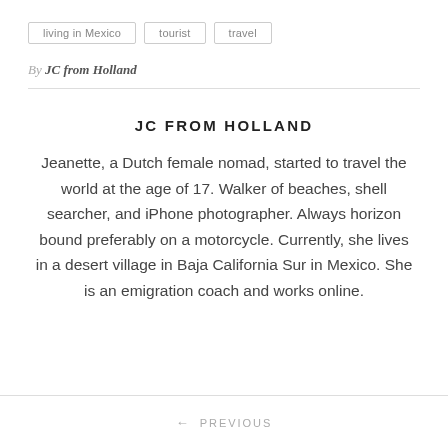living in Mexico
tourist
travel
By JC from Holland
JC FROM HOLLAND
Jeanette, a Dutch female nomad, started to travel the world at the age of 17. Walker of beaches, shell searcher, and iPhone photographer. Always horizon bound preferably on a motorcycle. Currently, she lives in a desert village in Baja California Sur in Mexico. She is an emigration coach and works online.
← PREVIOUS